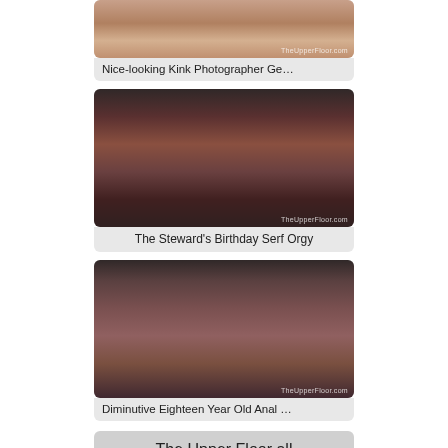[Figure (photo): Partial photo thumbnail with watermark TheUpperFloor.com]
Nice-looking Kink Photographer Ge…
[Figure (photo): Group party scene photo with watermark TheUpperFloor.com]
The Steward's Birthday Serf Orgy
[Figure (photo): Two people photo with watermark TheUpperFloor.com]
Diminutive Eighteen Year Old Anal …
The Upper Floor all